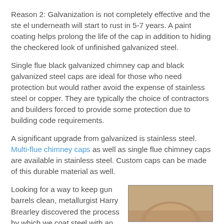Reason 2: Galvanization is not completely effective and the ste el underneath will start to rust in 5-7 years. A paint coating helps prolong the life of the cap in addition to hiding the checkered look of unfinished galvanized steel.
Single flue black galvanized chimney cap and black galvanized steel caps are ideal for those who need protection but would rather avoid the expense of stainless steel or copper. They are typically the choice of contractors and builders forced to provide some protection due to building code requirements.
A significant upgrade from galvanized is stainless steel. Multi-flue chimney caps as well as single flue chimney caps are available in stainless steel. Custom caps can be made of this durable material as well.
Looking for a way to keep gun barrels clean, metallurgist Harry Brearley discovered the process by which we coat steel with an alloy containing Chromium. Much like the galvanization process, this creates a surface on steel nearly impenetrable by oxygen.
[Figure (photo): Partial image of a chimney cap, showing a brownish/copper-toned object, cropped at the bottom of the page.]